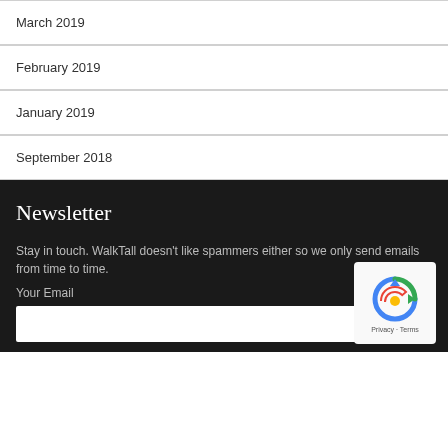March 2019
February 2019
January 2019
September 2018
Newsletter
Stay in touch. WalkTall doesn't like spammers either so we only send emails from time to time.
Your Email